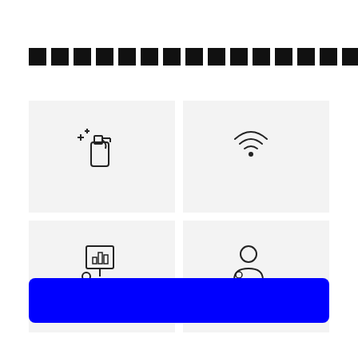█████████████████████
[Figure (illustration): Spray bottle with plus sign icon]
[Figure (illustration): WiFi signal icon]
[Figure (illustration): Presentation/chart board icon]
[Figure (illustration): User/person icon]
[Figure (illustration): Blue rounded rectangle button/bar]